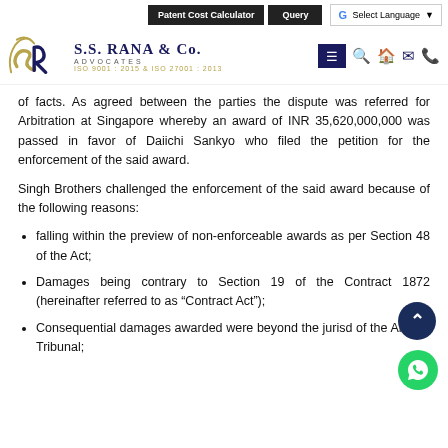Patent Cost Calculator | Query | G Select Language | S.S. RANA & CO. ADVOCATES ISO 9001:2015 & ISO 27001:2013
of facts. As agreed between the parties the dispute was referred for Arbitration at Singapore whereby an award of INR 35,620,000,000 was passed in favor of Daiichi Sankyo who filed the petition for the enforcement of the said award.
Singh Brothers challenged the enforcement of the said award because of the following reasons:
falling within the preview of non-enforceable awards as per Section 48 of the Act;
Damages being contrary to Section 19 of the Contract 1872 (hereinafter referred to as “Contract Act”);
Consequential damages awarded were beyond the jurisd of the Arbitral Tribunal;